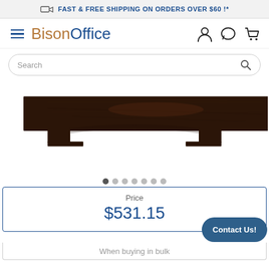FAST & FREE SHIPPING ON ORDERS OVER $60 !*
[Figure (logo): BisonOffice logo with hamburger menu and nav icons (user, chat, cart)]
[Figure (screenshot): Search bar with placeholder text 'Search' and magnifier icon]
[Figure (photo): Product photo of a dark walnut wood desk bridge/hutch shelf, cropped to show the top portion of the arched bridge piece]
[Figure (other): Image carousel dots — 7 dots, first one active (filled dark)]
Price
$531.15
Contact Us!
When buying in bulk